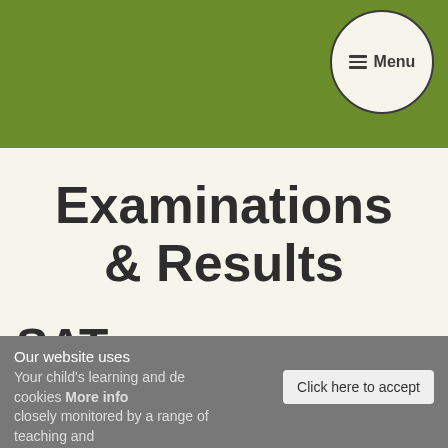Menu
Examinations & Results
SATs
Our website uses
Your child's learning and development are closely monitored by a range of teaching and
cookies More info
Click here to accept